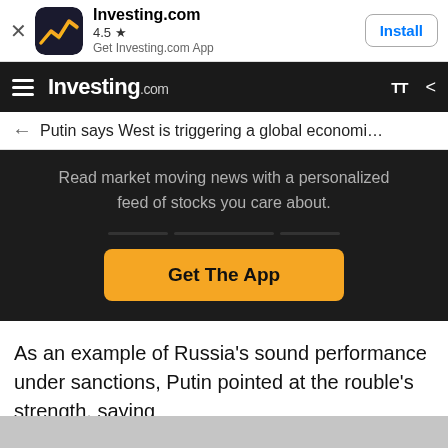[Figure (screenshot): Investing.com app banner with icon showing a stylized yellow/orange chart on dark background, app name Investing.com, rating 4.5 stars, subtitle Get Investing.com App, and an Install button]
Investing.com
Putin says West is triggering a global economi…
Read market moving news with a personalized feed of stocks you care about.
Get The App
As an example of Russia's sound performance under sanctions, Putin pointed at the rouble's strength, saying